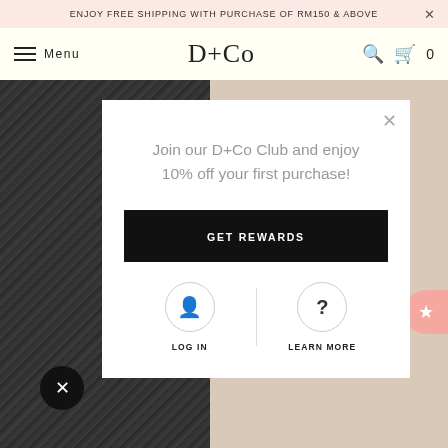ENJOY FREE SHIPPING WITH PURCHASE OF RM150 & ABOVE
D+Co
Join our D+Co Club and enjoy 10% off your first purchase!
GET REWARDS
LOG IN
LEARN MORE